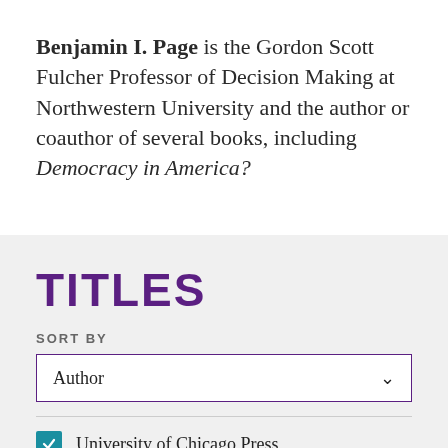Benjamin I. Page is the Gordon Scott Fulcher Professor of Decision Making at Northwestern University and the author or coauthor of several books, including Democracy in America?
TITLES
SORT BY
Author
University of Chicago Press
Distributed Presses